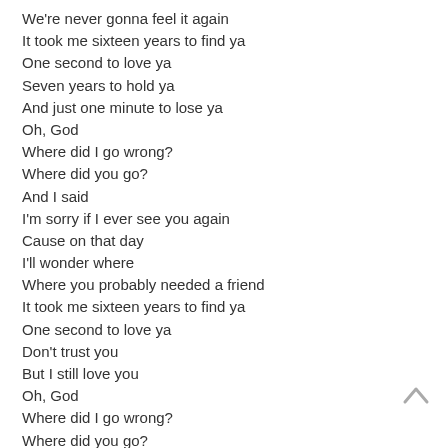We're never gonna feel it again
It took me sixteen years to find ya
One second to love ya
Seven years to hold ya
And just one minute to lose ya
Oh, God
Where did I go wrong?
Where did you go?
And I said
I'm sorry if I ever see you again
Cause on that day
I'll wonder where
Where you probably needed a friend
It took me sixteen years to find ya
One second to love ya
Don't trust you
But I still love you
Oh, God
Where did I go wrong?
Where did you go?